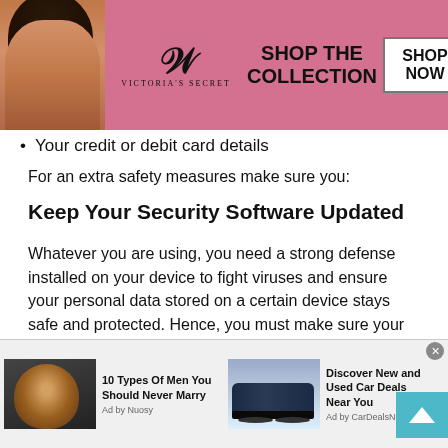[Figure (other): Victoria's Secret advertisement banner with model photo, VS logo, SHOP THE COLLECTION text, and SHOP NOW button]
Your credit or debit card details
For an extra safety measures make sure you:
Keep Your Security Software Updated
Whatever you are using, you need a strong defense installed on your device to fight viruses and ensure your personal data stored on a certain device stays safe and protected. Hence, you must make sure your software or security features are always up to date. Do not delay installing the latest versions because these will be very...
[Figure (other): Bottom advertisement bar with two ad items: '10 Types Of Men You Should Never Marry' by Nuosy, and 'Discover New and Used Car Deals Near You' by CarDealsNearYou]